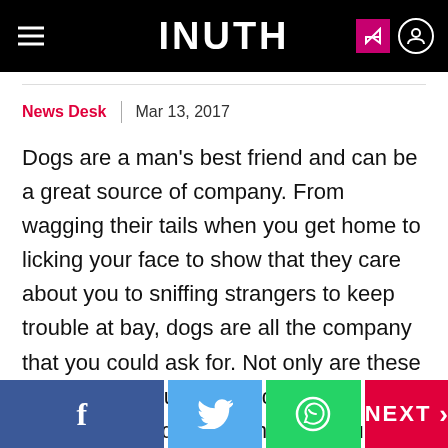INUTH
News Desk | Mar 13, 2017
Dogs are a man's best friend and can be a great source of company. From wagging their tails when you get home to licking your face to show that they care about you to sniffing strangers to keep trouble at bay, dogs are all the company that you could ask for. Not only are these cute little creatures your daily dose of stress buster (don't tell me that you don't play with your pet after a tiring